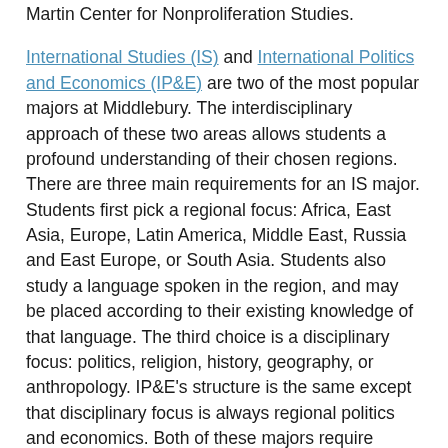Martin Center for Nonproliferation Studies.
International Studies (IS) and International Politics and Economics (IP&E) are two of the most popular majors at Middlebury. The interdisciplinary approach of these two areas allows students a profound understanding of their chosen regions. There are three main requirements for an IS major. Students first pick a regional focus: Africa, East Asia, Europe, Latin America, Middle East, Russia and East Europe, or South Asia. Students also study a language spoken in the region, and may be placed according to their existing knowledge of that language. The third choice is a disciplinary focus: politics, religion, history, geography, or anthropology. IP&E's structure is the same except that disciplinary focus is always regional politics and economics. Both of these majors require students to spend at least one semester in their chosen region of the world.
Study abroad is a major component of the Middlebury